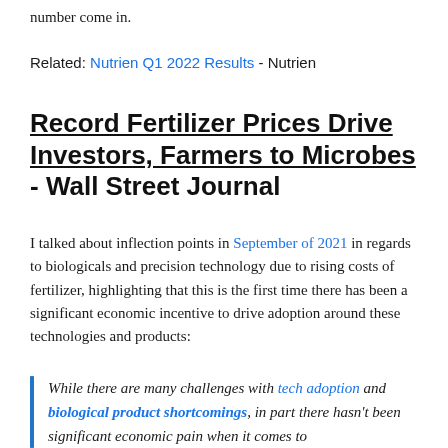number come in.
Related: Nutrien Q1 2022 Results - Nutrien
Record Fertilizer Prices Drive Investors, Farmers to Microbes - Wall Street Journal
I talked about inflection points in September of 2021 in regards to biologicals and precision technology due to rising costs of fertilizer, highlighting that this is the first time there has been a significant economic incentive to drive adoption around these technologies and products:
While there are many challenges with tech adoption and biological product shortcomings, in part there hasn't been significant economic pain when it comes to